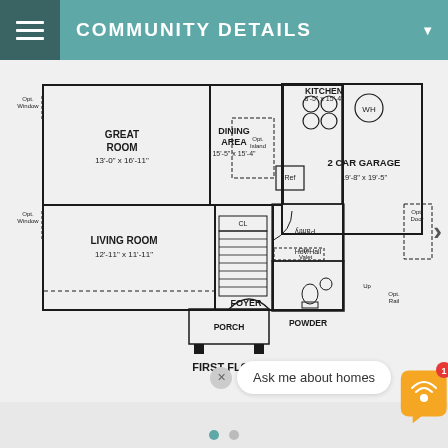COMMUNITY DETAILS
[Figure (engineering-diagram): First floor plan showing Great Room 13'-0" x 16'-11", Dining Area 15'-5" x 15'-4", Kitchen 8'-5" x 15'-4", 2 Car Garage 19'-8" x 19'-5", Living Room 12'-11" x 11'-11", Foyer, Powder room, Porch. Optional features including Opt. Window, Opt. Island, Opt. Door, Opt. Valet, Opt. Rail. Labeled FIRST FLOOR.]
FIRST FLOOR
Ask me about homes